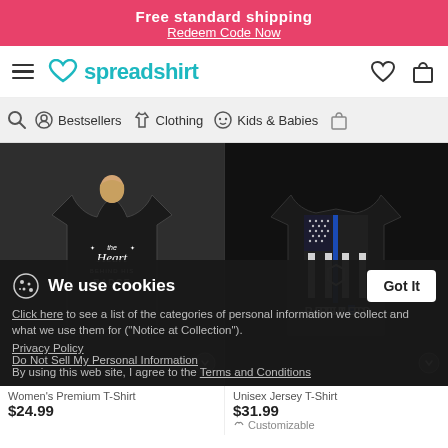Free standard shipping
Redeem Code Now
[Figure (logo): Spreadshirt logo with teal heart icon and teal text]
Bestsellers  Clothing  Kids & Babies
[Figure (photo): Woman wearing black t-shirt that says 'The Heart Behind His Badge']
[Figure (photo): Back of black t-shirt showing thin blue line flag with 'RETIRED' text]
Women's Premium T-Shirt
$24.99
Unisex Jersey T-Shirt
$31.99
Customizable
We use cookies
Click here to see a list of the categories of personal information we collect and what we use them for ("Notice at Collection").
Privacy Policy
Do Not Sell My Personal Information
By using this web site, I agree to the Terms and Conditions